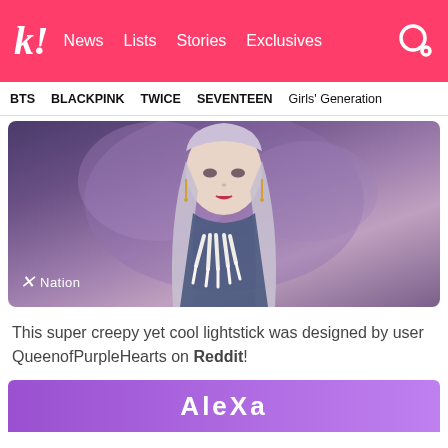k! News Lists Stories Exclusives
BTS  BLACKPINK  TWICE  SEVENTEEN  Girls' Generation
[Figure (photo): A K-pop idol with long silver/gray hair, dramatic makeup, dangling earrings, posing with hands forming a V-shape near her face. Bottom-left overlay text reads 'X Nation'. Purple/pink moody background.]
This super creepy yet cool lightstick was designed by user QueenofPurpleHearts on Reddit!
[Figure (other): Purple gradient banner with 'AleXa' text in white]